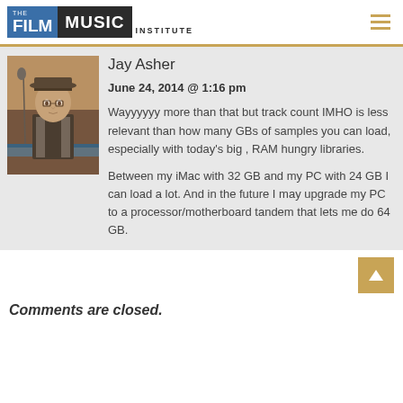[Figure (logo): The Film Music Institute logo with blue and dark background elements]
[Figure (photo): Photo of Jay Asher, a man wearing a hat standing near a microphone and keyboard]
Jay Asher
June 24, 2014 @ 1:16 pm
Wayyyyyy more than that but track count IMHO is less relevant than how many GBs of samples you can load, especially with today's big , RAM hungry libraries.
Between my iMac with 32 GB and my PC with 24 GB I can load a lot. And in the future I may upgrade my PC to a processor/motherboard tandem that lets me do 64 GB.
Comments are closed.